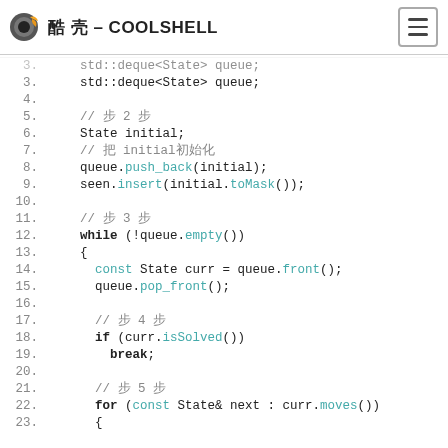酷 壳 – COOLSHELL
[Figure (screenshot): C++ code snippet showing BFS algorithm with line numbers 3-23, featuring std::deque queue, initial state setup, while loop, and for loop constructs.]